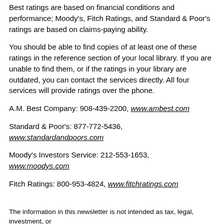Best ratings are based on financial conditions and performance; Moody's, Fitch Ratings, and Standard & Poor's ratings are based on claims-paying ability.
You should be able to find copies of at least one of these ratings in the reference section of your local library. If you are unable to find them, or if the ratings in your library are outdated, you can contact the services directly. All four services will provide ratings over the phone.
A.M. Best Company: 908-439-2200, www.ambest.com
Standard & Poor's: 877-772-5436, www.standardandpoors.com
Moody's Investors Service: 212-553-1653, www.moodys.com
Fitch Ratings: 800-953-4824, www.fitchratings.com
The information in this newsletter is not intended as tax, legal, investment, or